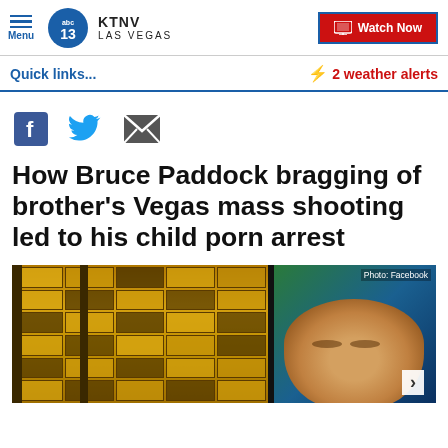KTNV LAS VEGAS - Menu | Watch Now
Quick links...
⚡ 2 weather alerts
[Figure (other): Social share icons: Facebook, Twitter, Email]
How Bruce Paddock bragging of brother's Vegas mass shooting led to his child porn arrest
[Figure (photo): Left: Mandalay Bay gold grid windows exterior. Right: Photo of man's face, credited to Facebook.]